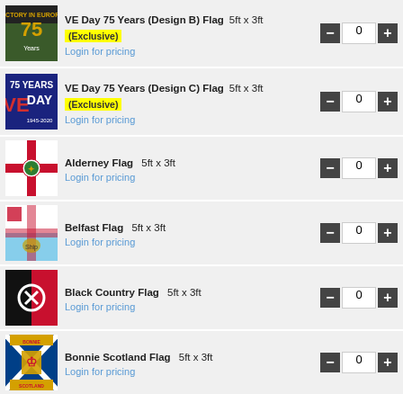VE Day 75 Years (Design B) Flag 5ft x 3ft (Exclusive) Login for pricing qty: 0
VE Day 75 Years (Design C) Flag 5ft x 3ft (Exclusive) Login for pricing qty: 0
Alderney Flag 5ft x 3ft Login for pricing qty: 0
Belfast Flag 5ft x 3ft Login for pricing qty: 0
Black Country Flag 5ft x 3ft Login for pricing qty: 0
Bonnie Scotland Flag 5ft x 3ft Login for pricing qty: 0